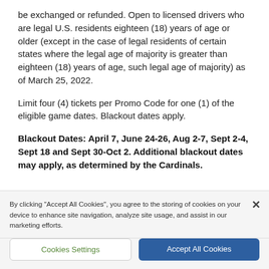be exchanged or refunded. Open to licensed drivers who are legal U.S. residents eighteen (18) years of age or older (except in the case of legal residents of certain states where the legal age of majority is greater than eighteen (18) years of age, such legal age of majority) as of March 25, 2022.
Limit four (4) tickets per Promo Code for one (1) of the eligible game dates. Blackout dates apply.
Blackout Dates: April 7, June 24-26, Aug 2-7, Sept 2-4, Sept 18 and Sept 30-Oct 2. Additional blackout dates may apply, as determined by the Cardinals.
By clicking "Accept All Cookies", you agree to the storing of cookies on your device to enhance site navigation, analyze site usage, and assist in our marketing efforts.